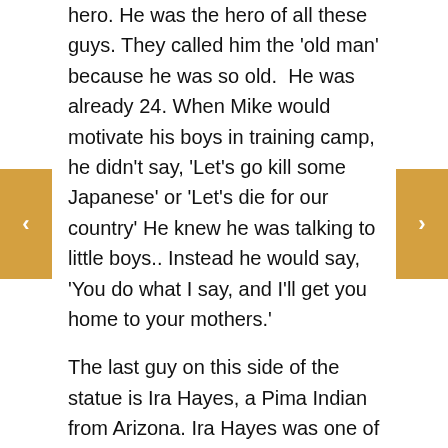hero. He was the hero of all these guys. They called him the 'old man' because he was so old.  He was already 24. When Mike would motivate his boys in training camp, he didn't say, 'Let's go kill some Japanese' or 'Let's die for our country' He knew he was talking to little boys.. Instead he would say, 'You do what I say, and I'll get you home to your mothers.'
The last guy on this side of the statue is Ira Hayes, a Pima Indian from Arizona. Ira Hayes was one of them who lived to walk off Iwo Jima . He went into the White House with my dad. President Truman told him, 'You're a hero' He told reporters, 'How can I feel like a hero when 250 of my buddies hit the island with me and only 27 of us walked off alive?'